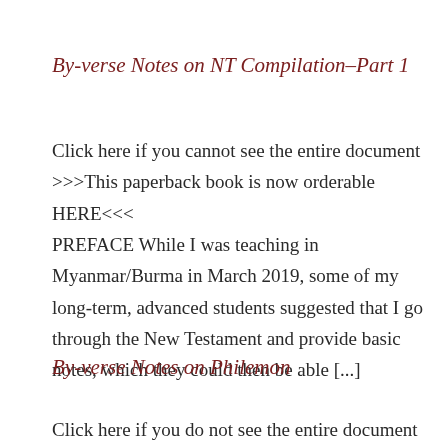By-verse Notes on NT Compilation–Part 1
Click here if you cannot see the entire document >>>This paperback book is now orderable HERE<<< PREFACE While I was teaching in Myanmar/Burma in March 2019, some of my long-term, advanced students suggested that I go through the New Testament and provide basic notes, which they could then be able [...]
By-verse Notes on Philemon
Click here if you do not see the entire document